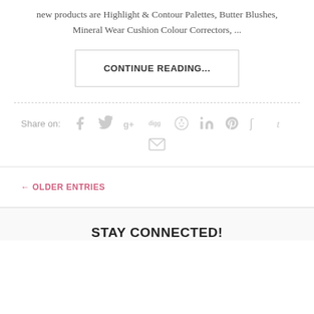new products are Highlight & Contour Palettes, Butter Blushes, Mineral Wear Cushion Colour Correctors, ...
CONTINUE READING...
Share on:
[Figure (illustration): Social media share icons: Facebook, Twitter, Google+, Digg, Reddit, LinkedIn, Pinterest, StumbleUpon, Tumblr, and Email]
← OLDER ENTRIES
STAY CONNECTED!